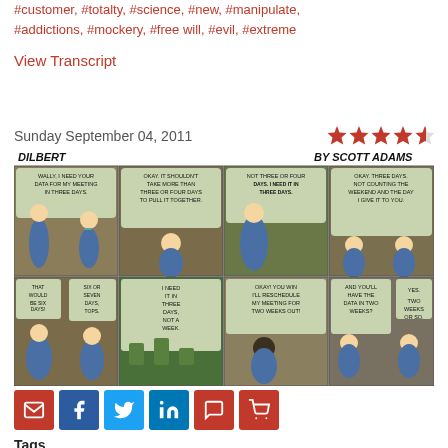#customer, #totalty, #science, #new, #manipulate, #addictions, #mockery, #free will, #evil, #extreme
View Transcript
Sunday September 04, 2011
[Figure (illustration): Dilbert comic strip by Scott Adams dated Sunday September 04, 2011, with 8 panels showing a workplace negotiation about data delivery timelines. Rating: 4 out of 5 stars. Top row panels: Panel 1 - female boss tells Wally she needs his data for a meeting in three days. Panel 2 - Wally says it shouldn't take more than three or four days to pull it together. Panel 3 - boss says not three or four days, she needs it in three days. Panel 4 - Wally says okay three days not counting the weekend and the day he gives it to her. Bottom row: Panel 5 - boss says that would be six days, Wally says six or seven days tops. Panel 6 - Wally says he needs it in three days not a week. Panel 7 - boss says okay you win she'll reschedule her meeting for two weeks out. Panel 8 - Wally says she'll have the data in two weeks, boss says yes two weeks or so.]
Tags
#administrative agencies, #control, #data, #delay